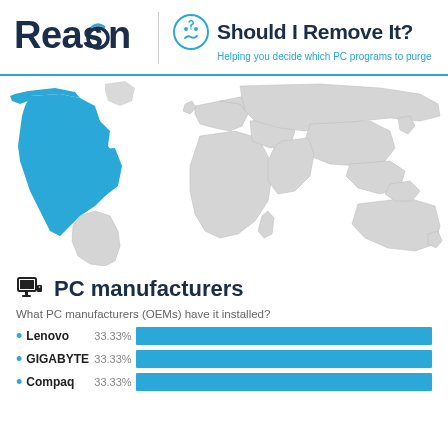[Figure (logo): Reason logo and Should I Remove It? branding header with smiley face icon and tagline]
[Figure (map): World map showing geographic distribution, with USA and Alaska highlighted in blue]
PC manufacturers
What PC manufacturers (OEMs) have it installed?
[Figure (bar-chart): PC manufacturers]